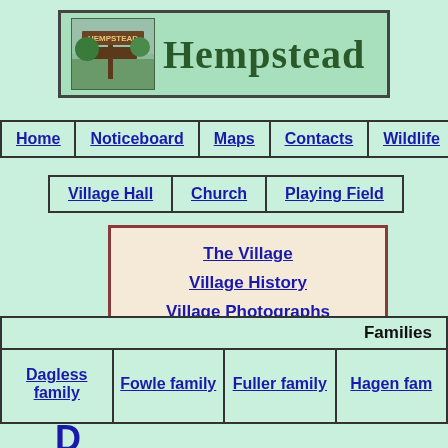[Figure (logo): Hempstead village sign photo with green banner header showing 'Hempstead' text]
Home | Noticeboard | Maps | Contacts | Wildlife
Village Hall | Church | Playing Field
The Village
Village History
Village Photographs
| Families |
| --- |
| Dagless family | Fowle family | Fuller family | Hagen fam... |